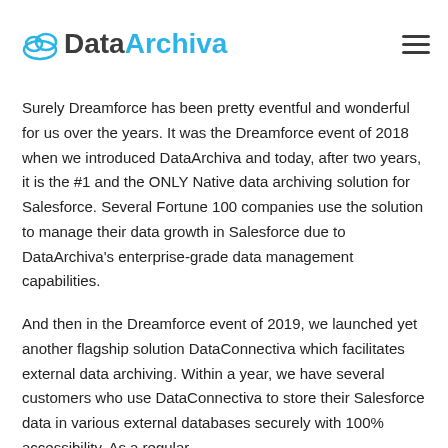DataArchiva
Surely Dreamforce has been pretty eventful and wonderful for us over the years. It was the Dreamforce event of 2018 when we introduced DataArchiva and today, after two years, it is the #1 and the ONLY Native data archiving solution for Salesforce. Several Fortune 100 companies use the solution to manage their data growth in Salesforce due to DataArchiva’s enterprise-grade data management capabilities.
And then in the Dreamforce event of 2019, we launched yet another flagship solution DataConnectiva which facilitates external data archiving. Within a year, we have several customers who use DataConnectiva to store their Salesforce data in various external databases securely with 100% accessibility. As a regular